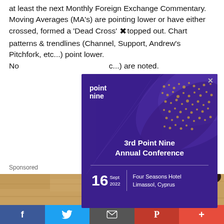at least the next Monthly Foreign Exchange Commentary. Moving Averages (MA's) are pointing lower or have either crossed, formed a 'Dead Cross' ✖ topped out. Chart patterns & trendlines (Channel, Support, Andrew's Pitchfork, etc...) point lower. No(...c...) are noted.
[Figure (other): Advertisement overlay for '3rd Point Nine Annual Conference', 16 Sept 2022, Four Seasons Hotel Limassol, Cyprus. Purple background with decorative dot pattern and Point Nine logo.]
Sponsored
[Figure (photo): Close-up photo of a marble or stone statue/architectural element against a textured golden-brown wall with dark metal bars.]
f  Twitter bird icon  Email icon  P  +